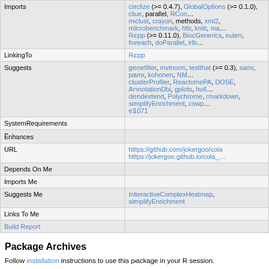| Field | Value |
| --- | --- |
| Imports | circlize (>= 0.4.7), GlobalOptions (>= 0.1.0), clue, parallel, RCon... mclust, crayon, methods, xml2, microbenchmark, httr, knitr, ma... Rcpp (>= 0.11.0), BiocGenerics, eulerr, foreach, doParallel, irlb... |
| LinkingTo | Rcpp |
| Suggests | genefilter, mvtnorm, testthat (>= 0.3), samr, pamr, kohonen, NM... clusterProfiler, ReactomePA, DOSE, AnnotationDbi, gplots, hu6... dendextend, Polychrome, rmarkdown, simplifyEnrichment, cowp... e1071 |
| SystemRequirements |  |
| Enhances |  |
| URL | https://github.com/jokergoo/cola https://jokergoo.github.io/cola_... |
| Depends On Me |  |
| Imports Me |  |
| Suggests Me | InteractiveComplexHeatmap, simplifyEnrichment |
| Links To Me |  |
| Build Report |  |
Package Archives
Follow installation instructions to use this package in your R session.
|  |  |
| --- | --- |
| Source Package | cola_2.3.0.tar.gz |
| Windows Binary | cola_2.3.0.zip (64-bit only) |
| macOS 10.13 (High Sierra) | cola_2.3.0.tgz |
| Source Repository | git clone https://git.bioconductor.org/packages/... |
| Source Repository (Developer Access) | git clone git@git.bioconductor.org:package/c... |